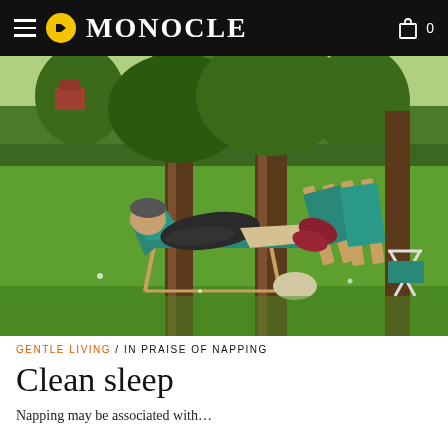MONOCLE
[Figure (photo): A man reclining in a green canvas deck chair on a grassy park lawn, feet up, eyes closed, napping outdoors. Several folded deck chairs lean against large tree trunks in the background. The scene is a sunny Italian-style park with tall trees, green hedges, and a red building visible in the distance.]
GENTLE LIVING / IN PRAISE OF NAPPING
Clean sleep
Napping may be associated with...